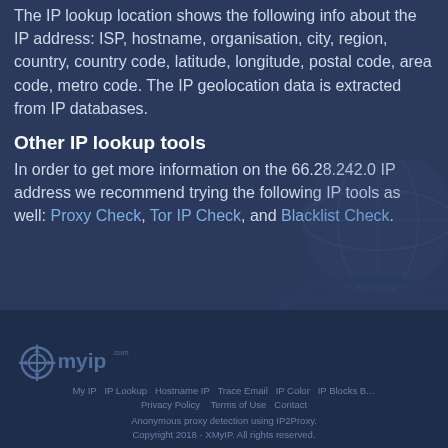The IP lookup location shows the following info about the IP address: ISP, hostname, organisation, city, region, country, country code, latitude, longitude, postal code, area code, metro code. The IP geolocation data is extracted from IP databases.
Other IP lookup tools
In order to get more information on the 66.28.242.0 IP address we recommend trying the following IP tools as well: Proxy Check, Tor IP Check, and Blacklist Check.
[Figure (logo): XMyIP.com logo in footer]
My IP  IP Lookup  Hostname IP  Trace Email  IP Color  IP Blocks B…  Privacy Policy   Terms of Use  Contact  Anonymous proxy detection using IP2Proxy.  Copyright 2018 - XMyIP. All rights reserved.